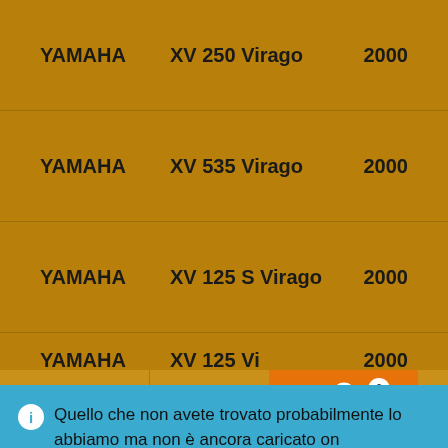YAMAHA   XV 250 Virago   2000
YAMAHA   XV 535 Virago   2000
YAMAHA   XV 125 S Virago   2000
YAMAHA   XV 125 Vi...   2000
Quello che non avete trovato probabilmente lo abbiamo ma non è ancora caricato on line...Chiedetecelo
Ignora
Translate »